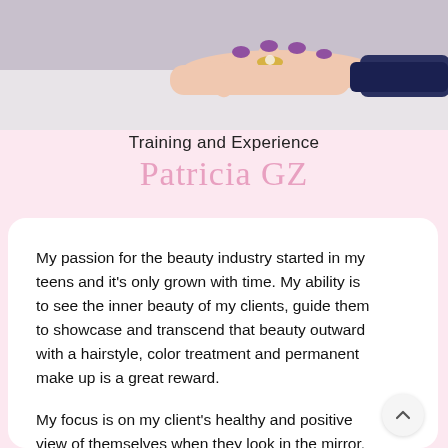[Figure (photo): Close-up photo of a woman's hand with purple painted nails and a decorative ring, resting on a white surface]
Training and Experience
Patricia GZ
My passion for the beauty industry started in my teens and it's only grown with time. My ability is to see the inner beauty of my clients, guide them to showcase and transcend that beauty outward with a hairstyle, color treatment and permanent make up is a great reward.
My focus is on my client's healthy and positive view of themselves when they look in the mirror. Whether the motivation is self-reward, a deep feeling to regain a part of you from illness past or to